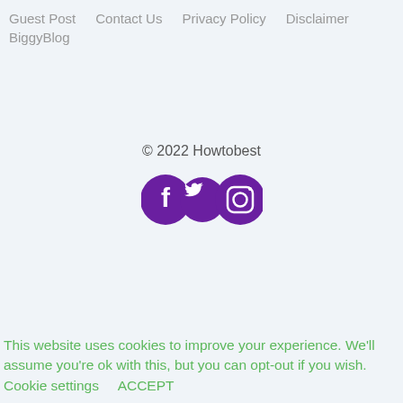Guest Post   Contact Us   Privacy Policy   Disclaimer   BiggyBlog
© 2022 Howtobest
[Figure (logo): Three social media icons: Facebook (purple circle with f), Twitter (purple bird), Instagram (purple camera outline)]
This website uses cookies to improve your experience. We'll assume you're ok with this, but you can opt-out if you wish.    Cookie settings    ACCEPT